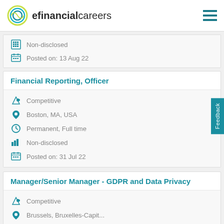efinancialcareers
Non-disclosed
Posted on: 13 Aug 22
Financial Reporting, Officer
Competitive
Boston, MA, USA
Permanent, Full time
Non-disclosed
Posted on: 31 Jul 22
Manager/Senior Manager - GDPR and Data Privacy
Competitive
Brussels, Bruxelles-Capit...